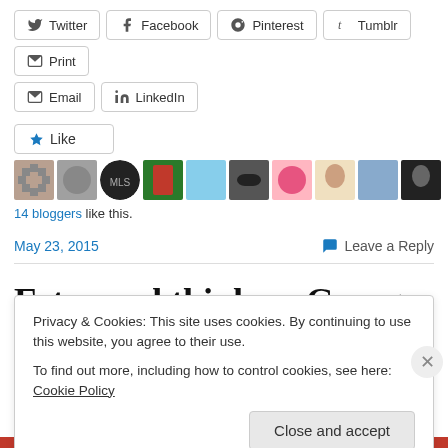[Figure (screenshot): Social share buttons: Twitter, Facebook, Pinterest, Tumblr, Print, Email, LinkedIn]
[Figure (infographic): Like button with star icon and 10 blogger avatar thumbnails]
14 bloggers like this.
May 23, 2015    Leave a Reply
Esteemed thinker: George Washington
Privacy & Cookies: This site uses cookies. By continuing to use this website, you agree to their use.
To find out more, including how to control cookies, see here: Cookie Policy
Close and accept